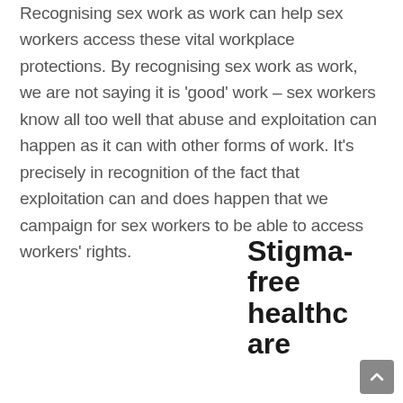Recognising sex work as work can help sex workers access these vital workplace protections. By recognising sex work as work, we are not saying it is 'good' work – sex workers know all too well that abuse and exploitation can happen as it can with other forms of work. It's precisely in recognition of the fact that exploitation can and does happen that we campaign for sex workers to be able to access workers' rights.
Stigma-free healthcare